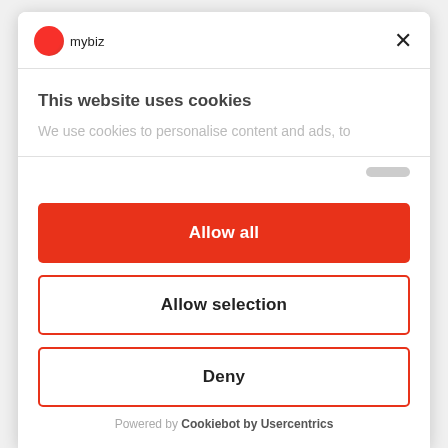[Figure (logo): mybiz logo with red circle icon and text 'mybiz']
This website uses cookies
We use cookies to personalise content and ads, to
Allow all
Allow selection
Deny
Powered by Cookiebot by Usercentrics
TOP categories